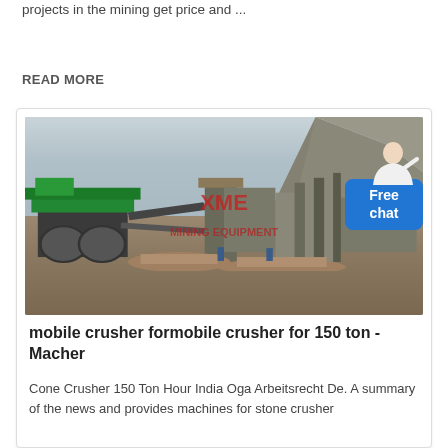projects in the mining get price and ...
READ MORE
[Figure (photo): Mining site with mobile crusher equipment, industrial machinery, conveyor belts, and a mountain backdrop. XME Mining Equipment watermark visible.]
mobile crusher formobile crusher for 150 ton - Macher
Cone Crusher 150 Ton Hour India Oga Arbeitsrecht De. A summary of the news and provides machines for stone crusher